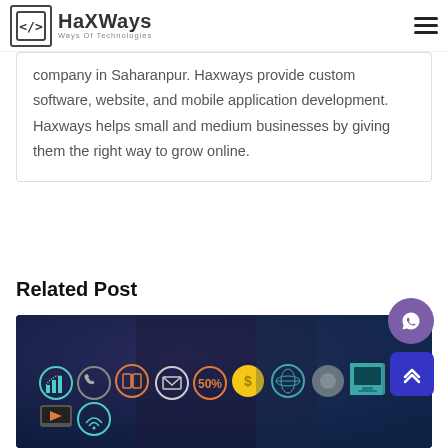HaxWays - Ways Of Technologies
company in Saharanpur. Haxways provide custom software, website, and mobile application development. Haxways helps small and medium businesses by giving them the right way to grow online.
Related Post
[Figure (photo): Dark background photo of a person in a suit with colorful technology and digital marketing icons overlaid, including phone, email, chart, globe, dollar sign, and monitor icons.]